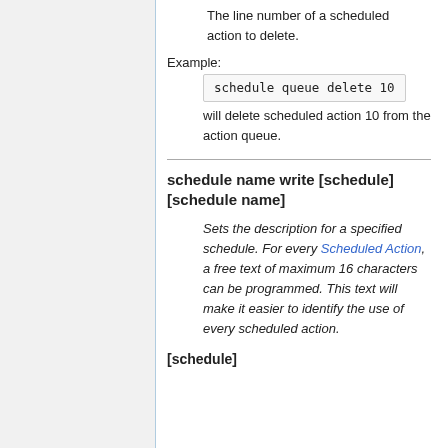The line number of a scheduled action to delete.
Example:
schedule queue delete 10
will delete scheduled action 10 from the action queue.
schedule name write [schedule] [schedule name]
Sets the description for a specified schedule. For every Scheduled Action, a free text of maximum 16 characters can be programmed. This text will make it easier to identify the use of every scheduled action.
[schedule]